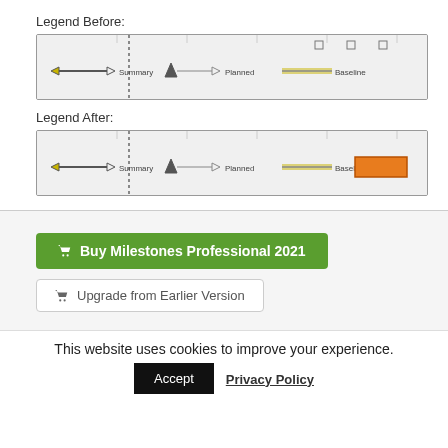Legend Before:
[Figure (screenshot): Gantt chart legend before: showing Summary, Planned, and Baseline markers with dashed vertical line and small square markers]
Legend After:
[Figure (screenshot): Gantt chart legend after: showing Summary, Planned, and Baseline markers with dashed vertical line plus an orange filled rectangle added]
Buy Milestones Professional 2021
Upgrade from Earlier Version
This website uses cookies to improve your experience.
Accept
Privacy Policy